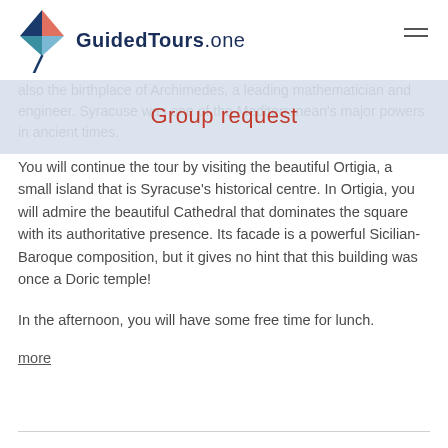[Figure (logo): GuidedTours.one logo with kite graphic and brand name]
Group request
also the birthplace of Archimedes, a leading mathematician and engineer. Syracuse was one of the Mediterranean's major powers in ancient times.
You will continue the tour by visiting the beautiful Ortigia, a small island that is Syracuse's historical centre. In Ortigia, you will admire the beautiful Cathedral that dominates the square with its authoritative presence. Its facade is a powerful Sicilian-Baroque composition, but it gives no hint that this building was once a Doric temple!
In the afternoon, you will have some free time for lunch.
more